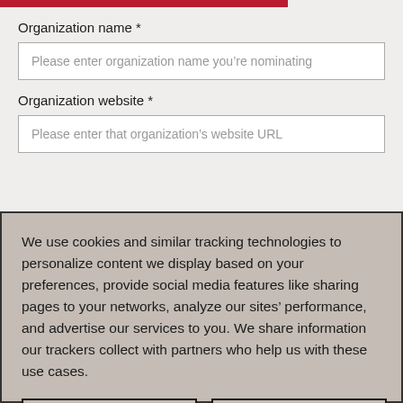Organization name *
Please enter organization name you're nominating
Organization website *
Please enter that organization's website URL
We use cookies and similar tracking technologies to personalize content we display based on your preferences, provide social media features like sharing pages to your networks, analyze our sites' performance, and advertise our services to you. We share information our trackers collect with partners who help us with these use cases.
Tracking Preferences
Accept Defaults